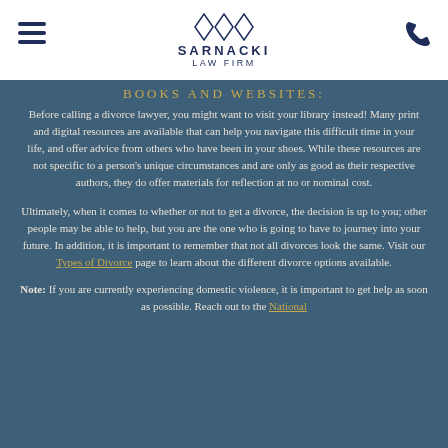Sarnacki Law Firm
BOOKS AND WEBSITES:
Before calling a divorce lawyer, you might want to visit your library instead! Many print and digital resources are available that can help you navigate this difficult time in your life, and offer advice from others who have been in your shoes. While these resources are not specific to a person's unique circumstances and are only as good as their respective authors, they do offer materials for reflection at no or nominal cost.
Ultimately, when it comes to whether or not to get a divorce, the decision is up to you; other people may be able to help, but you are the one who is going to have to journey into your future. In addition, it is important to remember that not all divorces look the same. Visit our Types of Divorce page to learn about the different divorce options available.
Note: If you are currently experiencing domestic violence, it is important to get help as soon as possible. Reach out to the National